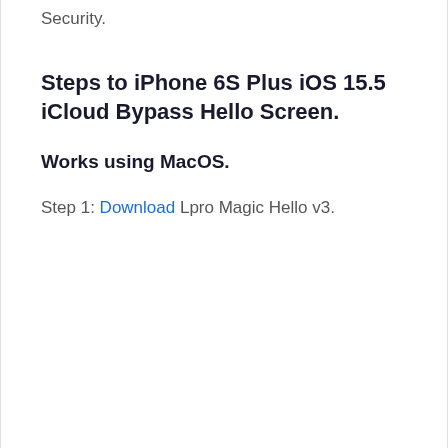Security.
Steps to iPhone 6S Plus iOS 15.5 iCloud Bypass Hello Screen.
Works using MacOS.
Step 1: Download Lpro Magic Hello v3.